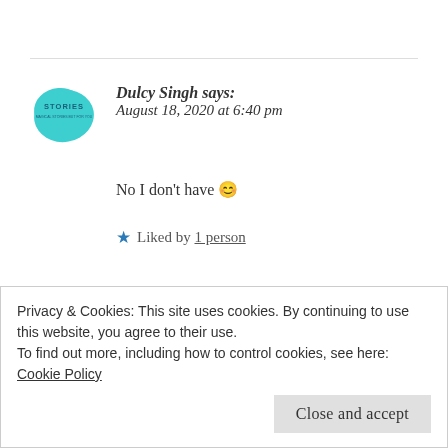Dulcy Singh says: August 18, 2020 at 6:40 pm
No I don't have 😊
★ Liked by 1 person
Chocoviv says: August 18, 2020 at 6:43 pm
Privacy & Cookies: This site uses cookies. By continuing to use this website, you agree to their use. To find out more, including how to control cookies, see here: Cookie Policy
Close and accept